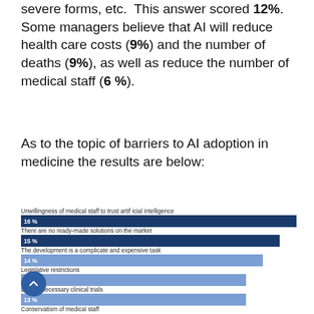severe forms, etc. This answer scored 12%. Some managers believe that AI will reduce health care costs (9%) and the number of deaths (9%), as well as reduce the number of medical staff (6%).
As to the topic of barriers to AI adoption in medicine the results are below:
[Figure (bar-chart): Barriers to AI adoption in medicine]